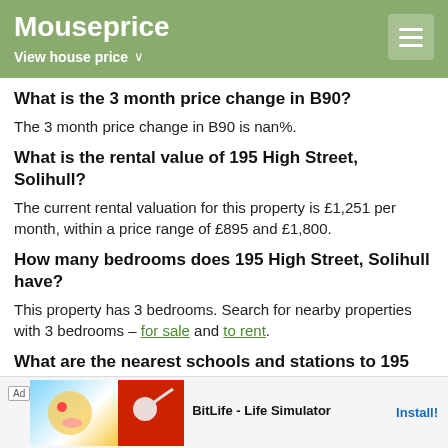Mouseprice — View house price
What is the 3 month price change in B90?
The 3 month price change in B90 is nan%.
What is the rental value of 195 High Street, Solihull?
The current rental valuation for this property is £1,251 per month, within a price range of £895 and £1,800.
How many bedrooms does 195 High Street, Solihull have?
This property has 3 bedrooms. Search for nearby properties with 3 bedrooms – for sale and to rent.
What are the nearest schools and stations to 195 High Street, Solihull?
Nearby schools in include Woodlands Infant School, Light Hall School, S… side Catholic …
[Figure (other): BitLife - Life Simulator advertisement banner]